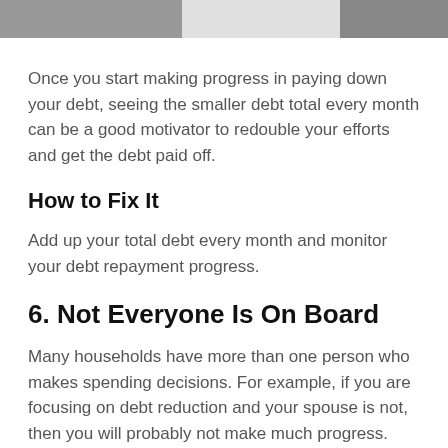[Figure (photo): Partial photo strip at top of page showing two greyscale image fragments side by side with a gap between them]
Once you start making progress in paying down your debt, seeing the smaller debt total every month can be a good motivator to redouble your efforts and get the debt paid off.
How to Fix It
Add up your total debt every month and monitor your debt repayment progress.
6. Not Everyone Is On Board
Many households have more than one person who makes spending decisions. For example, if you are focusing on debt reduction and your spouse is not, then you will probably not make much progress.